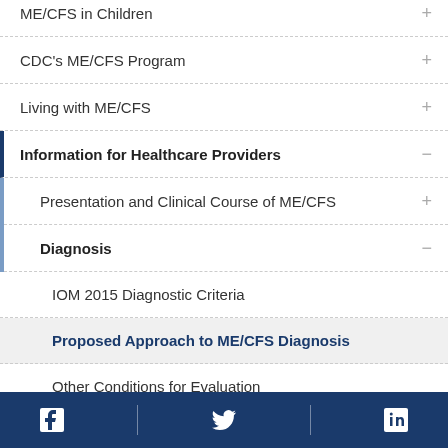ME/CFS in Children
CDC's ME/CFS Program
Living with ME/CFS
Information for Healthcare Providers
Presentation and Clinical Course of ME/CFS
Diagnosis
IOM 2015 Diagnostic Criteria
Proposed Approach to ME/CFS Diagnosis
Other Conditions for Evaluation
Facebook Twitter LinkedIn